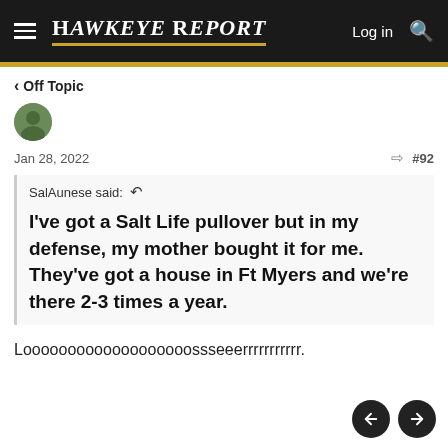HAWKEYE REPORT — Log in
< Off Topic
Jan 28, 2022  #92
SalAunese said: ↩
I've got a Salt Life pullover but in my defense, my mother bought it for me. They've got a house in Ft Myers and we're there 2-3 times a year.
Looooooooooooooooooossseeerrrrrrrrrrr.